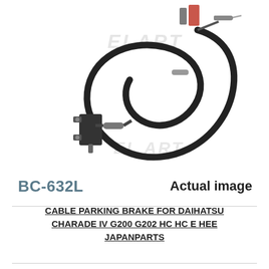[Figure (photo): Parking brake cable product photo on white background with ELART watermark. The cable is black with metal fittings at each end, coiled in a loop shape.]
BC-632L
Actual image
CABLE PARKING BRAKE FOR DAIHATSU CHARADE IV G200 G202 HC HC E HEE JAPANPARTS